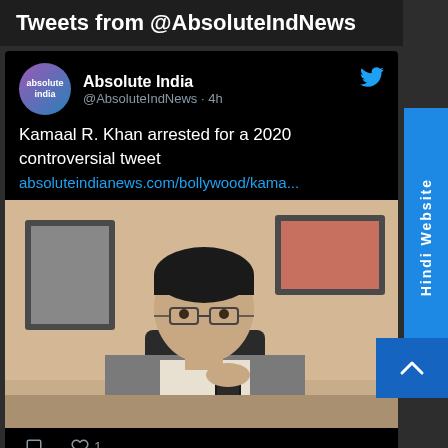Tweets from @AbsoluteIndNews
[Figure (screenshot): Twitter/social media feed showing a tweet from @AbsoluteIndNews (Absolute India) posted 4h ago. Tweet text: 'Kamaal R. Khan arrested for a 2020 controversial tweet' with link absoluteindianews.com/bollywood/kama... Below tweet is an image of a man in a suit holding a phone, with framed pictures on a wall behind him. Tweet has 0 comments and 1 like.]
Kamaal R. Khan arrested for a 2020 controversial tweet absoluteindianews.com/bollywood/kama...
[Figure (photo): Photo of a man with glasses and dark hair wearing a grey suit jacket, holding a mobile phone, sitting in front of framed pictures/photos on a wall in an office-like setting.]
Absolute India @AbsoluteIndNews
Hindi Website
↑